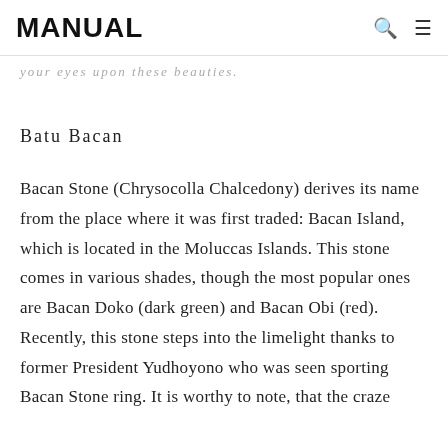MANUAL
your eyes upon these beauties.
Batu Bacan
Bacan Stone (Chrysocolla Chalcedony) derives its name from the place where it was first traded: Bacan Island, which is located in the Moluccas Islands. This stone comes in various shades, though the most popular ones are Bacan Doko (dark green) and Bacan Obi (red). Recently, this stone steps into the limelight thanks to former President Yudhoyono who was seen sporting Bacan Stone ring. It is worthy to note, that the craze